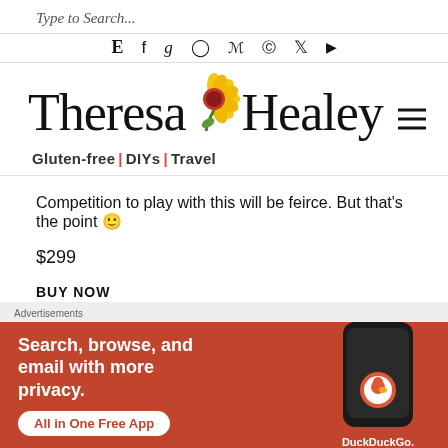Type to Search...
[Figure (other): Social media icon bar with Etsy, Facebook, Goodreads, Instagram, Pinterest, TikTok, Twitter, YouTube icons]
[Figure (logo): Theresa Healey blog logo with sunflower, script text 'Theresa Healey' and tagline 'Gluten-free | DIYs | Travel']
Competition to play with this will be feirce. But that's the point 🙂
$299
BUY NOW
[Figure (screenshot): DuckDuckGo advertisement banner: 'Search, browse, and email with more privacy. All in One Free App' with phone image and DuckDuckGo logo]